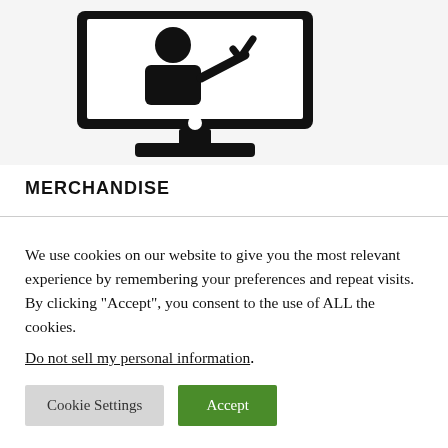[Figure (illustration): Black icon of a person (teacher/presenter) on a computer monitor screen, with a checkmark, on a light grey background. The monitor has a stand and circular button.]
MERCHANDISE
We use cookies on our website to give you the most relevant experience by remembering your preferences and repeat visits. By clicking “Accept”, you consent to the use of ALL the cookies.
Do not sell my personal information.